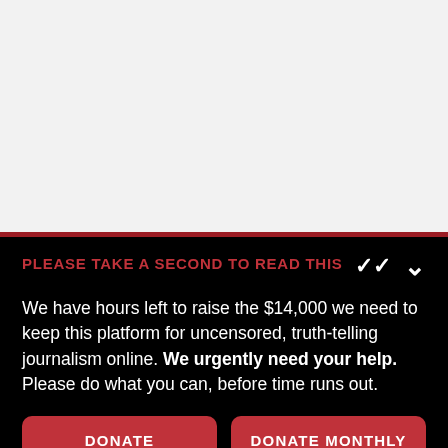[Figure (other): Light gray background area (top portion of page, content area placeholder)]
PLEASE TAKE A SECOND TO READ THIS
We have hours left to raise the $14,000 we need to keep this platform for uncensored, truth-telling journalism online. We urgently need your help. Please do what you can, before time runs out.
DONATE
DONATE MONTHLY